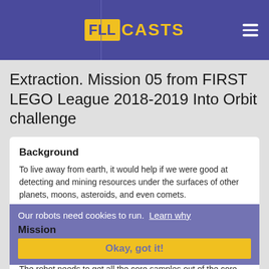FLLCASTS
Extraction. Mission 05 from FIRST LEGO League 2018-2019 Into Orbit challenge
Background
To live away from earth, it would help if we were good at detecting and mining resources under the surfaces of other planets, moons, asteroids, and even comets.
Our robots need cookies to run.  Learn why
Okay, got it!
Mission
The robot needs to get all the core samples out of the core site model, then it has options for what to do with them as described here, and in mission M03